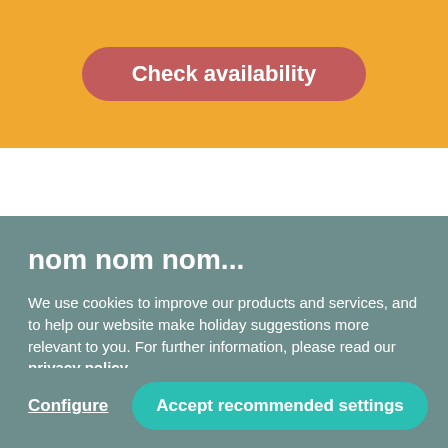[Figure (screenshot): Orange banner with a pink rounded button labeled 'Check availability' in white bold text]
nom nom nom...
We use cookies to improve our products and services, and to help our website make holiday suggestions more relevant to you. For further information, please read our privacy policy.
Configure
Accept recommended settings